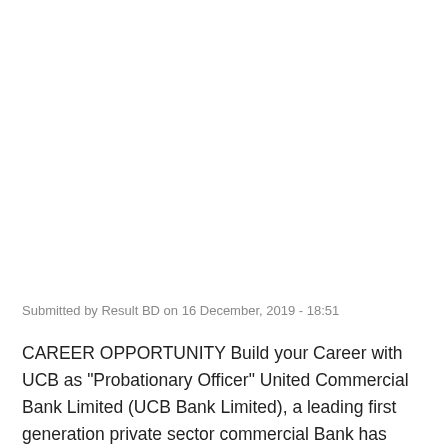Submitted by Result BD on 16 December, 2019 - 18:51
CAREER OPPORTUNITY Build your Career with UCB as "Probationary Officer" United Commercial Bank Limited (UCB Bank Limited), a leading first generation private sector commercial Bank has come a long way in terms of its business process and people philosophy having its business network with 189 branches across the country, is looking for smart, young,